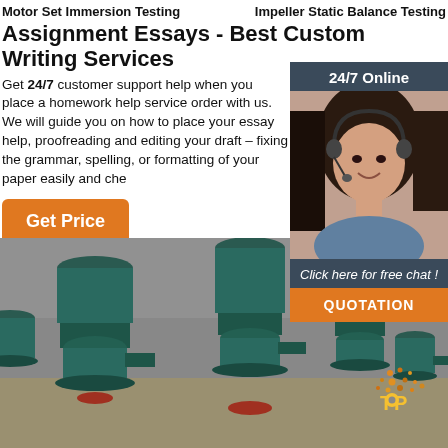Motor Set Immersion Testing    Impeller Static Balance Testing
Assignment Essays - Best Custom Writing Services
Get 24/7 customer support help when you place a homework help service order with us. We will guide you on how to place your essay help, proofreading and editing your draft – fixing the grammar, spelling, or formatting of your paper easily and che...
24/7 Online
Get Price
[Figure (photo): Woman with headset smiling, customer support representative]
Click here for free chat !
QUOTATION
[Figure (photo): Industrial pump motors lined up on a concrete floor, teal/dark green color]